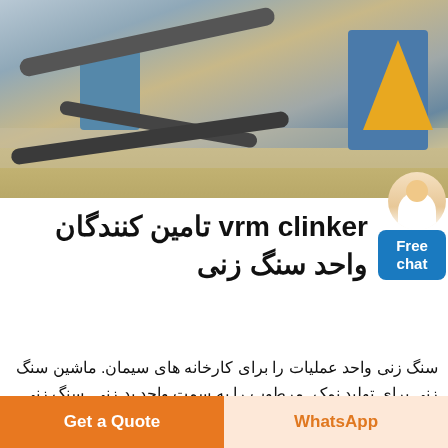[Figure (photo): Aerial view of an industrial stone crushing / mineral processing plant with conveyor belts, blue machinery, and yellow cone-shaped equipment on sandy ground]
vrm clinker تامین کنندگان واحد سنگ زنی
سنگ زنی واحد عملیات را برای کارخانه های سیمان. ماشین سنگ زنی برای تولید نمک, مرطوب را به سمت واحد ید زنی, سنگ زنی در حین عملیات سایش,
WhatsApp
Get a Quote